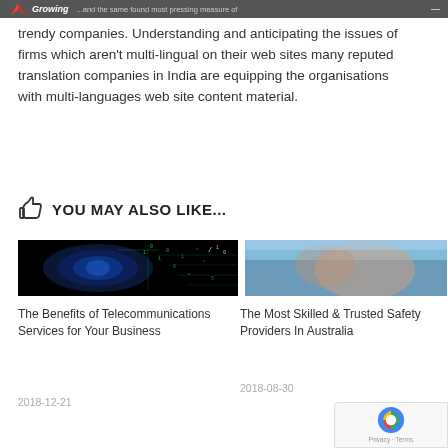Growing — ...and the same found most pressing measure of trendy companies
trendy companies. Understanding and anticipating the issues of firms which aren't multi-lingual on their web sites many reputed translation companies in India are equipping the organisations with multi-languages web site content material.
YOU MAY ALSO LIKE...
[Figure (photo): Dark background image with blue digital brain and code/binary numbers]
[Figure (photo): Partially visible image with light blue and skin tones]
The Benefits of Telecommunications Services for Your Business
2018-12-21
The Most Skilled & Trusted Safety Providers In Australia
2018-08-30